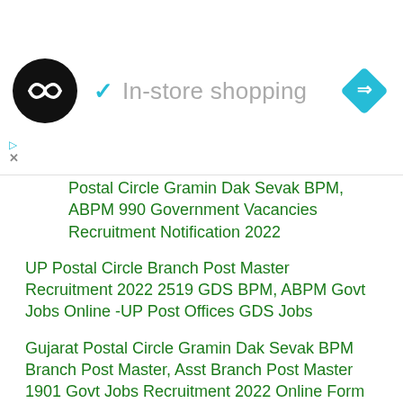[Figure (logo): Black circular logo with double arrow icon, in-store shopping checkmark label, and blue navigation diamond icon — advertisement banner]
Postal Circle Gramin Dak Sevak BPM, ABPM 990 Government Vacancies Recruitment Notification 2022
UP Postal Circle Branch Post Master Recruitment 2022 2519 GDS BPM, ABPM Govt Jobs Online -UP Post Offices GDS Jobs
Gujarat Postal Circle Gramin Dak Sevak BPM Branch Post Master, Asst Branch Post Master 1901 Govt Jobs Recruitment 2022 Online Form
Telangana Post Offices GDS Gramin Dak Sevak Branch Post Master BPM, ABPM Recruitment 2022 1226 Govt Jobs Apply Online
GDS Gramin Dak Sevak 634 Govt Jobs in HP Postal Circle Himachal Pradesh Post Offices BPM, ABPM